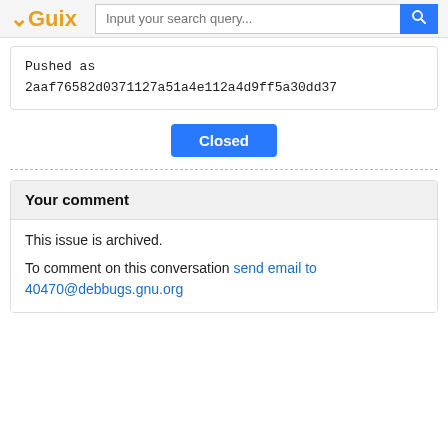Guix — Input your search query...
Pushed as
2aaf76582d0371127a51a4e112a4d9ff5a30dd37
Closed
Your comment
This issue is archived.

To comment on this conversation send email to 40470@debbugs.gnu.org